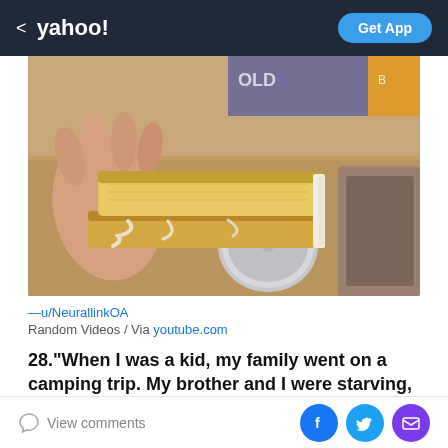< yahoo!   Get App
[Figure (photo): A hand holding a sandwich with filling dripping out, placed near a kitchen counter with a tin can lid visible, sink in background]
—u/NeurallinkOA
Random Videos / Via youtube.com
28."When I was a kid, my family went on a camping trip. My brother and I were starving, and my dad couldn't find any dry wood to start
View comments  [Facebook] [Twitter] [Email]